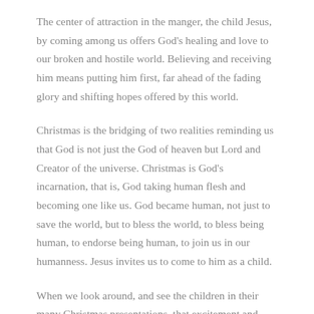The center of attraction in the manger, the child Jesus, by coming among us offers God's healing and love to our broken and hostile world. Believing and receiving him means putting him first, far ahead of the fading glory and shifting hopes offered by this world.
Christmas is the bridging of two realities reminding us that God is not just the God of heaven but Lord and Creator of the universe. Christmas is God's incarnation, that is, God taking human flesh and becoming one like us. God became human, not just to save the world, but to bless the world, to bless being human, to endorse being human, to join us in our humanness. Jesus invites us to come to him as a child.
When we look around, and see the children in their many Christmas presentations, that excitement and thrill goes a long way in helping to lay aside, even for